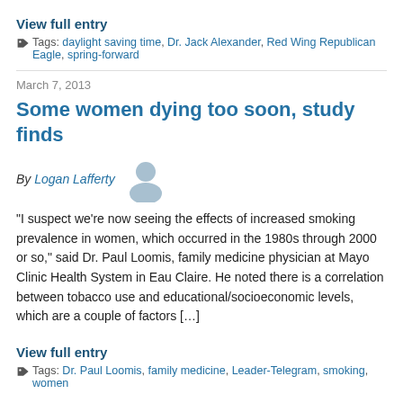View full entry
Tags: daylight saving time, Dr. Jack Alexander, Red Wing Republican Eagle, spring-forward
March 7, 2013
Some women dying too soon, study finds
By Logan Lafferty
“I suspect we’re now seeing the effects of increased smoking prevalence in women, which occurred in the 1980s through 2000 or so,” said Dr. Paul Loomis, family medicine physician at Mayo Clinic Health System in Eau Claire. He noted there is a correlation between tobacco use and educational/socioeconomic levels, which are a couple of factors […]
View full entry
Tags: Dr. Paul Loomis, family medicine, Leader-Telegram, smoking, women